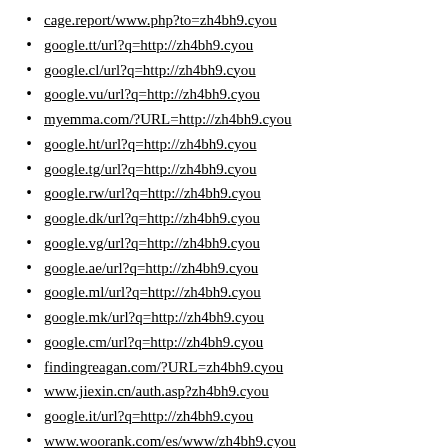cage.report/www.php?to=zh4bh9.cyou
google.tt/url?q=http://zh4bh9.cyou
google.cl/url?q=http://zh4bh9.cyou
google.vu/url?q=http://zh4bh9.cyou
myemma.com/?URL=http://zh4bh9.cyou
google.ht/url?q=http://zh4bh9.cyou
google.tg/url?q=http://zh4bh9.cyou
google.rw/url?q=http://zh4bh9.cyou
google.dk/url?q=http://zh4bh9.cyou
google.vg/url?q=http://zh4bh9.cyou
google.ae/url?q=http://zh4bh9.cyou
google.ml/url?q=http://zh4bh9.cyou
google.mk/url?q=http://zh4bh9.cyou
google.cm/url?q=http://zh4bh9.cyou
findingreagan.com/?URL=zh4bh9.cyou
www.jiexin.cn/auth.asp?zh4bh9.cyou
google.it/url?q=http://zh4bh9.cyou
www.woorank.com/es/www/zh4bh9.cyou
www.fcterc.gov.ng/?URL=zh4bh9.cyou